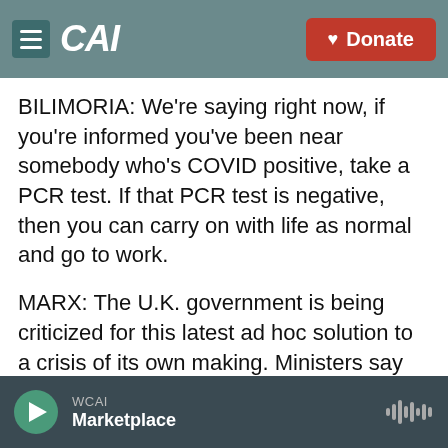[Figure (screenshot): Navigation bar with hamburger menu icon, CAI logo, and red Donate button]
BILIMORIA: We're saying right now, if you're informed you've been near somebody who's COVID positive, take a PCR test. If that PCR test is negative, then you can carry on with life as normal and go to work.
MARX: The U.K. government is being criticized for this latest ad hoc solution to a crisis of its own making. Ministers say the problem is being exaggerated and hope falling infection rates will soon put paid to this ping-demic.
For NPR News, I'm Willem Marx in London.
[Figure (screenshot): Audio player bar showing WCAI station and Marketplace program with play button and waveform icon]